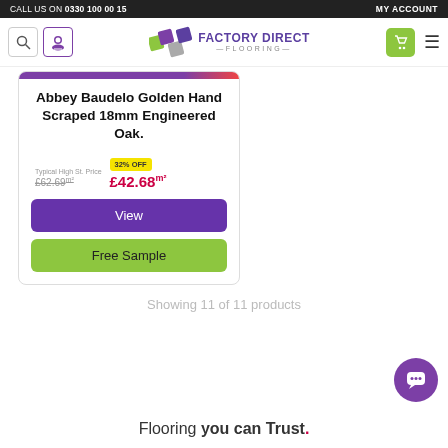CALL US ON 0330 100 00 15   MY ACCOUNT
[Figure (logo): Factory Direct Flooring logo with colorful tile graphic and search/cart icons in navigation bar]
Abbey Baudelo Golden Hand Scraped 18mm Engineered Oak.
Typical High St. Price £62.69m² 32% OFF £42.68m²
View
Free Sample
Showing 11 of 11 products
Flooring you can Trust.